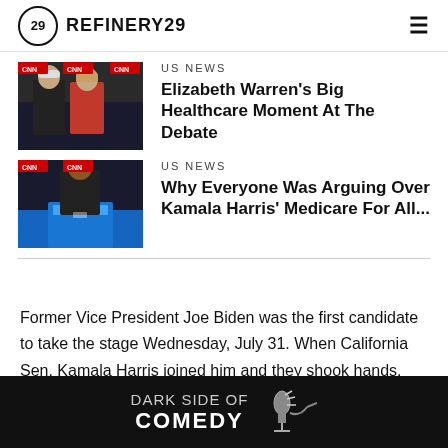REFINERY29
US NEWS
Elizabeth Warren's Big Healthcare Moment At The Debate
[Figure (photo): Photo of two politicians on a debate stage, one in a red jacket]
US NEWS
Why Everyone Was Arguing Over Kamala Harris' Medicare For All...
[Figure (photo): Photo of Kamala Harris at a CNN debate podium]
Former Vice President Joe Biden was the first candidate to take the stage Wednesday, July 31. When California Sen. Kamala Harris joined him and they shook hands, the former Veep t...4, hamm...osition
[Figure (other): Dark Side of Comedy advertisement banner]